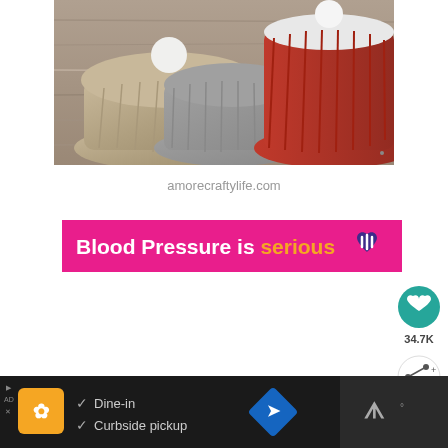[Figure (photo): Two knitted winter hats — one tan/beige and one red — with ribbed texture on a wooden background]
amorecraftylife.com
[Figure (infographic): Pink advertisement banner reading 'Blood Pressure is serious' with a purple heart icon]
[Figure (other): Teal circular like/heart button with count 34.7K and a share button below]
[Figure (infographic): Dark bottom advertisement bar with restaurant logo, checkmarks for Dine-in and Curbside pickup, blue navigation arrow icon, and waze-like icon on dark right panel]